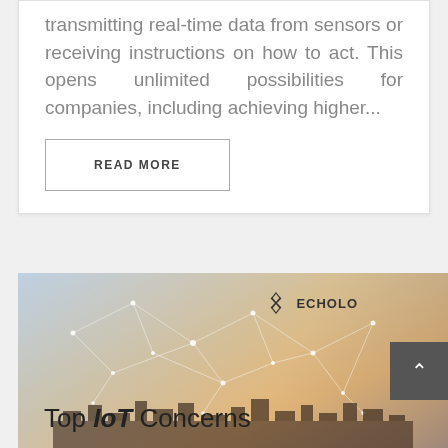transmitting real-time data from sensors or receiving instructions on how to act. This opens unlimited possibilities for companies, including achieving higher...
READ MORE
[Figure (illustration): IoT network illustration with connected nodes over a city skyline at sunset, with Echolo logo in top right area and 'Top IoT Concerns' text overlay at bottom]